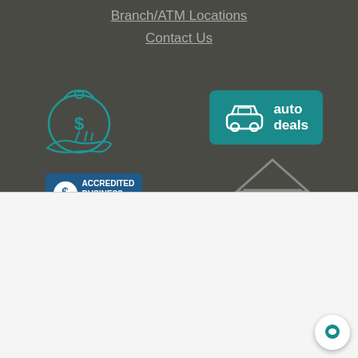Branch/ATM Locations
Contact Us
[Figure (illustration): Money bag with dollar sign icon and hand with money icon, teal outline style on dark background]
[Figure (infographic): Auto deals button with car icon on teal background]
[Figure (logo): BBB Accredited Business badge]
[Figure (illustration): Equal housing opportunity house icon in gray]
This website uses cookies to enhance user experience and to analyze performance and traffic on our website. We also share information about your use of our site with our social media, advertising and analytics partners.
Do Not Share My Personal Information
Accept Cookies